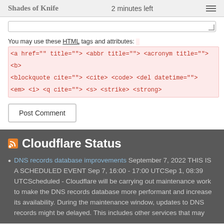Shades of Knife | 2 minutes left
You may use these HTML tags and attributes: <a href="" title=""> <abbr title=""> <acronym title=""> <b> <blockquote cite=""> <cite> <code> <del datetime=""> <em> <i> <q cite=""> <s> <strike> <strong>
Post Comment
Cloudflare Status
DNS records database improvements September 7, 2022 THIS IS A SCHEDULED EVENT Sep 7, 16:00 - 17:00 UTCSep 1, 08:39 UTCScheduled - Cloudflare will be carrying out maintenance work to make the DNS records database more performant and increase its availability. During the maintenance window, updates to DNS records might be delayed. This includes other services that may